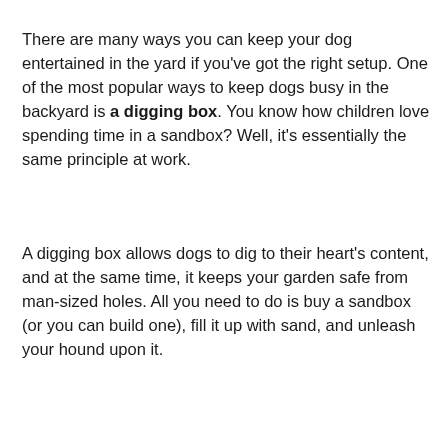There are many ways you can keep your dog entertained in the yard if you've got the right setup. One of the most popular ways to keep dogs busy in the backyard is a digging box. You know how children love spending time in a sandbox? Well, it's essentially the same principle at work.
A digging box allows dogs to dig to their heart's content, and at the same time, it keeps your garden safe from man-sized holes. All you need to do is buy a sandbox (or you can build one), fill it up with sand, and unleash your hound upon it.